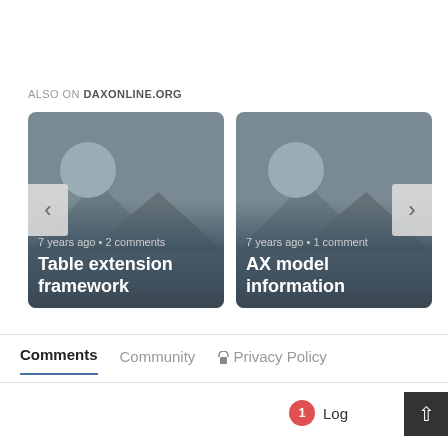ALSO ON DAXONLINE.ORG
[Figure (screenshot): Card showing placeholder image with text '7 years ago • 2 comments' and title 'Table extension framework']
[Figure (screenshot): Card showing placeholder image with text '7 years ago • 1 comment' and title 'AX model information']
Comments  Community  Privacy Policy
1  Log